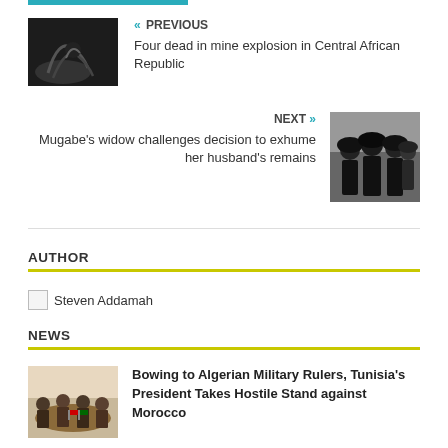[Figure (other): Top teal navigation bar stripe]
« PREVIOUS
Four dead in mine explosion in Central African Republic
NEXT »
Mugabe's widow challenges decision to exhume her husband's remains
AUTHOR
Steven Addamah
NEWS
Bowing to Algerian Military Rulers, Tunisia's President Takes Hostile Stand against Morocco